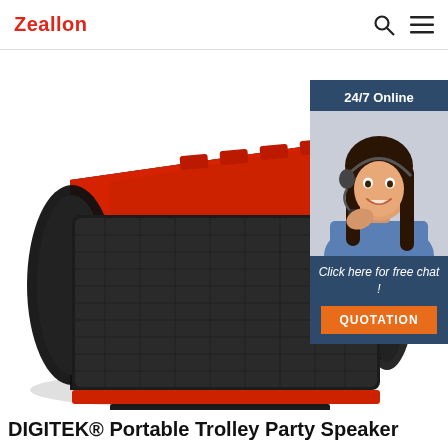Zeallon
[Figure (photo): A red and black portable Bluetooth speaker (DIGITEK Portable Trolley Party Speaker) shown at an angle. The speaker has a large black mesh grille on the front, red top surface with control buttons, and black rubberized sides. Overlaid on the right side is a customer service chat widget showing a woman wearing a headset, with text '24/7 Online', 'Click here for free chat!', and an orange 'QUOTATION' button, all on a dark blue background.]
DIGITEK® Portable Trolley Party Speaker